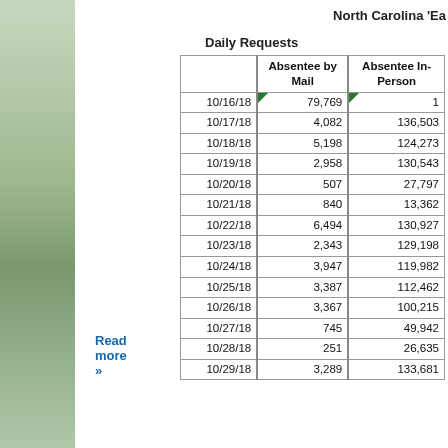North Carolina 'Ea
Daily Requests
|  | Absentee by Mail | Absentee In-Person |
| --- | --- | --- |
| 10/16/18 | 79,769 | 1 |
| 10/17/18 | 4,082 | 136,503 |
| 10/18/18 | 5,198 | 124,273 |
| 10/19/18 | 2,958 | 130,543 |
| 10/20/18 | 507 | 27,797 |
| 10/21/18 | 840 | 13,362 |
| 10/22/18 | 6,494 | 130,927 |
| 10/23/18 | 2,343 | 129,198 |
| 10/24/18 | 3,947 | 119,982 |
| 10/25/18 | 3,387 | 112,462 |
| 10/26/18 | 3,367 | 100,215 |
| 10/27/18 | 745 | 49,942 |
| 10/28/18 | 251 | 26,635 |
| 10/29/18 | 3,289 | 133,681 |
Read more »